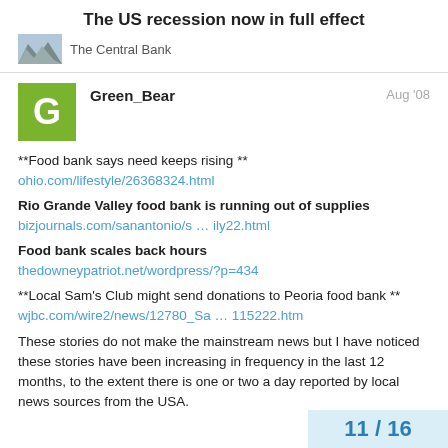The US recession now in full effect
The Central Bank
Green_Bear
Aug '08
**Food bank says need keeps rising ** ohio.com/lifestyle/26368324.html
Rio Grande Valley food bank is running out of supplies bizjournals.com/sanantonio/s … ily22.html
Food bank scales back hours thedowneypatriot.net/wordpress/?p=434
**Local Sam's Club might send donations to Peoria food bank ** wjbc.com/wire2/news/12780_Sa … 115222.htm
These stories do not make the mainstream news but I have noticed these stories have been increasing in frequency in the last 12 months, to the extent there is one or two a day reported by local news sources from the USA.
11 / 16